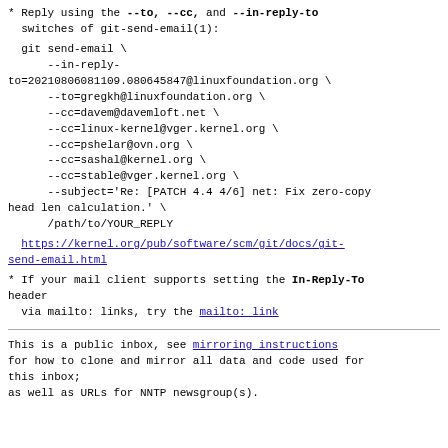* Reply using the --to, --cc, and --in-reply-to switches of git-send-email(1):
git send-email \
      --in-reply-to=20210806081109.080645847@linuxfoundation.org \
      --to=gregkh@linuxfoundation.org \
      --cc=davem@davemloft.net \
      --cc=linux-kernel@vger.kernel.org \
      --cc=pshelar@ovn.org \
      --cc=sashal@kernel.org \
      --cc=stable@vger.kernel.org \
      --subject='Re: [PATCH 4.4 4/6] net: Fix zero-copy head len calculation.' \
      /path/to/YOUR_REPLY
https://kernel.org/pub/software/scm/git/docs/git-send-email.html
* If your mail client supports setting the In-Reply-To header
  via mailto: links, try the mailto: link
This is a public inbox, see mirroring instructions
for how to clone and mirror all data and code used for
this inbox;
as well as URLs for NNTP newsgroup(s).